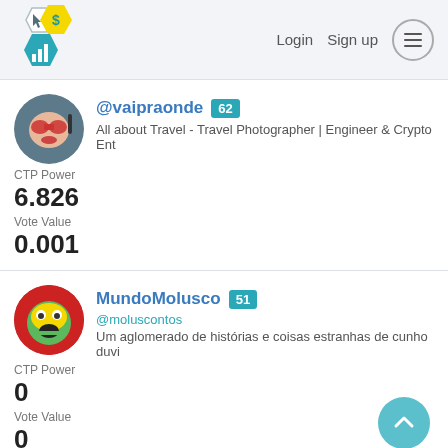Login  Sign up  [menu]
@vaipraonde 62
All about Travel - Travel Photographer | Engineer & Crypto Ent
CTP Power
6.826
Vote Value
0.001
MundoMolusco 51
@moluscontos
Um aglomerado de histórias e coisas estranhas de cunho duvi
CTP Power
0
Vote Value
0
Hey Cio Crypto  40